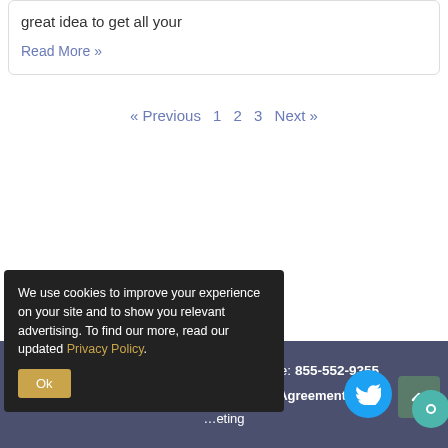great idea to get all your
Read More »
« Previous  1  2  3  Next »
© 2022 South Bay Wellness · Phone: 855-552-9355
Privacy Policy | Terms of Use Agreement |
We use cookies to improve your experience on your site and to show you relevant advertising. To find our more, read our updated Privacy Policy.
Ok